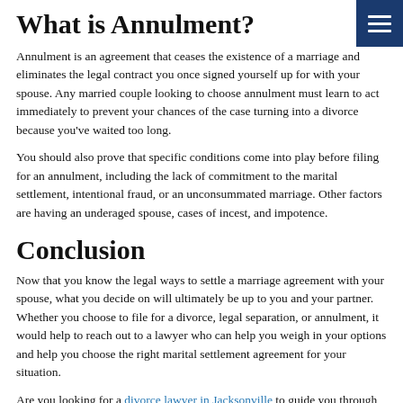What is Annulment?
Annulment is an agreement that ceases the existence of a marriage and eliminates the legal contract you once signed yourself up for with your spouse. Any married couple looking to choose annulment must learn to act immediately to prevent your chances of the case turning into a divorce because you've waited too long.
You should also prove that specific conditions come into play before filing for an annulment, including the lack of commitment to the marital settlement, intentional fraud, or an unconsummated marriage. Other factors are having an underaged spouse, cases of incest, and impotence.
Conclusion
Now that you know the legal ways to settle a marriage agreement with your spouse, what you decide on will ultimately be up to you and your partner. Whether you choose to file for a divorce, legal separation, or annulment, it would help to reach out to a lawyer who can help you weigh in your options and help you choose the right marital settlement agreement for your situation.
Are you looking for a divorce lawyer in Jacksonville to guide you through the legal settlement procedures? The Dorsey Law Firm is a legal firm that offers assistance on family law, criminal law, personal injury, and marital settlements. For more information, please visit our website.